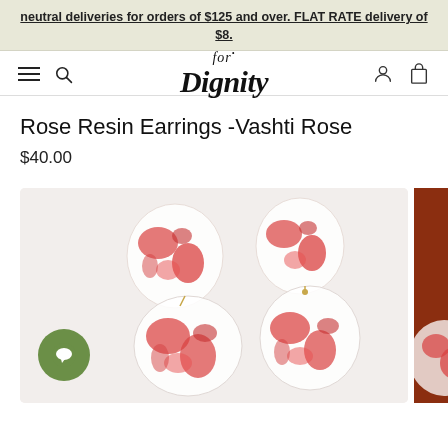neutral deliveries for orders of $125 and over. FLAT RATE delivery of $8.
[Figure (logo): For Dignity brand logo with stylized serif typography]
Rose Resin Earrings -Vashti Rose
$40.00
[Figure (photo): Rose resin earrings with red and white marbled pattern on light background]
[Figure (photo): Partial second product image on dark brown/red background]